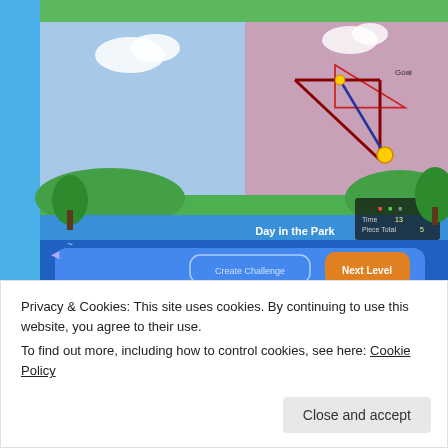[Figure (screenshot): Game screenshot showing 'Day in the Park' level with a green landscape, blue sky, a triangle shape drawn in the play area, and UI buttons including 'Create Challenge', 'Next Level', with time and piece total counters.]
[Figure (screenshot): Day One journaling app advertisement banner on a light blue background with a person wearing a t-shirt, text 'DAY ONE' in large spaced letters and 'The only journaling app you'll ever need.']
Privacy & Cookies: This site uses cookies. By continuing to use this website, you agree to their use.
To find out more, including how to control cookies, see here: Cookie Policy